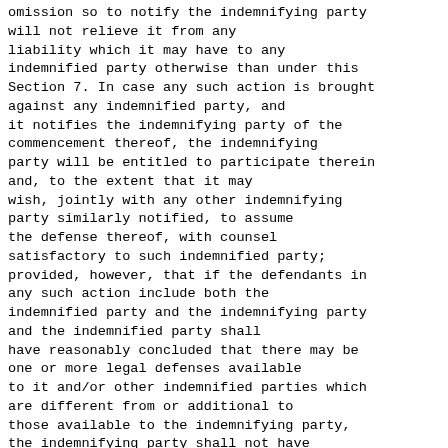omission so to notify the indemnifying party will not relieve it from any liability which it may have to any indemnified party otherwise than under this Section 7. In case any such action is brought against any indemnified party, and it notifies the indemnifying party of the commencement thereof, the indemnifying party will be entitled to participate therein and, to the extent that it may wish, jointly with any other indemnifying party similarly notified, to assume the defense thereof, with counsel satisfactory to such indemnified party; provided, however, that if the defendants in any such action include both the indemnified party and the indemnifying party and the indemnified party shall have reasonably concluded that there may be one or more legal defenses available to it and/or other indemnified parties which are different from or additional to those available to the indemnifying party, the indemnifying party shall not have the right to direct the defense of such